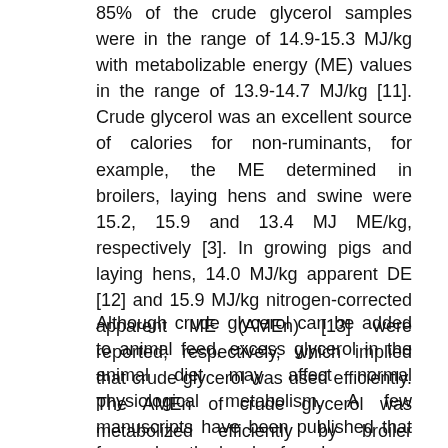85% of the crude glycerol samples were in the range of 14.9-15.3 MJ/kg with metabolizable energy (ME) values in the range of 13.9-14.7 MJ/kg [11]. Crude glycerol was an excellent source of calories for non-ruminants, for example, the ME determined in broilers, laying hens and swine were 15.2, 15.9 and 13.4 MJ ME/kg, respectively [3]. In growing pigs and laying hens, 14.0 MJ/kg apparent DE [12] and 15.9 MJ/kg nitrogen-corrected apparent ME (AMEn) [13] were reported, respectively, which implied that crude glycerol was used efficiently. The AMEn of crude glycerol was metabolized efficiently by broiler chickens with an AMEn of 14.4 MJ/kg. That was very similar to the general energy (GE) of 15.2 MJ/ kg [14]. In nursery pigs, the GE concentration of crude glycerol depended on the concentration of glycerol, methanol, and fatty acids, with ME as a percent of GE averaging 85.4% [15].
Although crude glycerol can be added to animal feed, excess glycerol in the animal diet may affect normal physiological metabolism. A few manuscripts have been published that focused on the levels of crude glycerol for the diets of any type of animal, but also the effects on the animals.